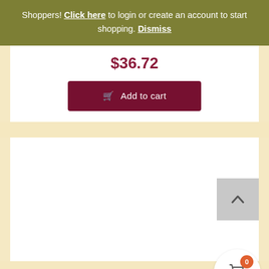Shoppers! Click here to login or create an account to start shopping. Dismiss
$36.72
Add to cart
[Figure (screenshot): White product card area below, scroll-to-top button with upward chevron, and floating cart button with badge showing 0]